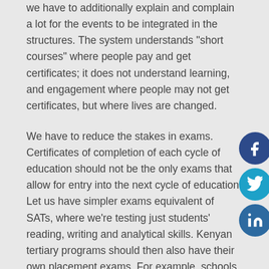we have to additionally explain and complain a lot for the events to be integrated in the structures. The system understands “short courses” where people pay and get certificates; it does not understand learning, and engagement where people may not get certificates, but where lives are changed.
We have to reduce the stakes in exams. Certificates of completion of each cycle of education should not be the only exams that allow for entry into the next cycle of education. Let us have simpler exams equivalent of SATs, where we’re testing just students' reading, writing and analytical skills. Kenyan tertiary programs should then also have their own placement exams. For example, schools of medicine can provide entry level exams for all who want to do medicine, regardless what their score in high school was. The purpose would to determine the entry level of the students in terms of how many remedial classes they would take, rather than determine whether they’re “worthy” of entering that program. That way, people can join medical – or any other school – any time, regardless of their high
[Figure (other): Social media share buttons: Facebook (dark blue circle with f), Twitter (cyan circle with bird), LinkedIn (blue circle with 'in')]